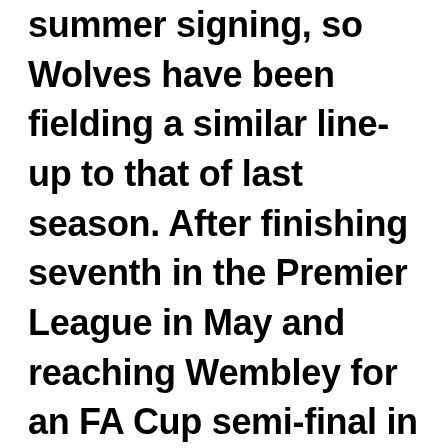summer signing, so Wolves have been fielding a similar line-up to that of last season. After finishing seventh in the Premier League in May and reaching Wembley for an FA Cup semi-final in which they led Watford 2-0 with eleven minutes remaining, Wolves look set to challenge towards the upper echelons of the Premiership this season, despite a series of tough early games running